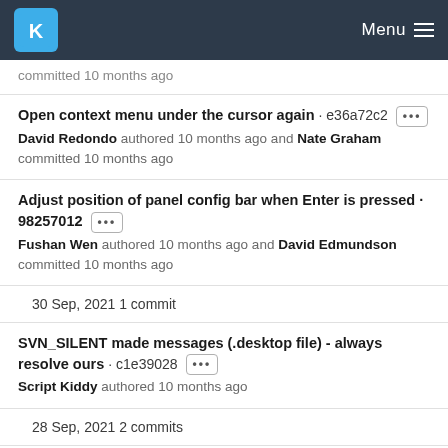KDE Menu
committed 10 months ago
Open context menu under the cursor again · e36a72c2 David Redondo authored 10 months ago and Nate Graham committed 10 months ago
Adjust position of panel config bar when Enter is pressed · 98257012 Fushan Wen authored 10 months ago and David Edmundson committed 10 months ago
30 Sep, 2021 1 commit
SVN_SILENT made messages (.desktop file) - always resolve ours · c1e39028 Script Kiddy authored 10 months ago
28 Sep, 2021 2 commits
CompactApplet: Only draw separator line for panel applets ·